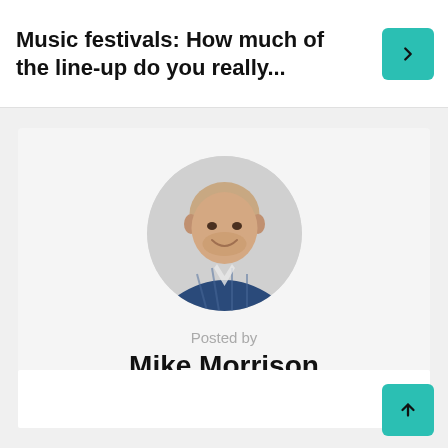Music festivals: How much of the line-up do you really...
[Figure (photo): Circular profile photo of Mike Morrison, a bald man smiling, wearing a blue checked shirt, against a light grey background]
Posted by
Mike Morrison